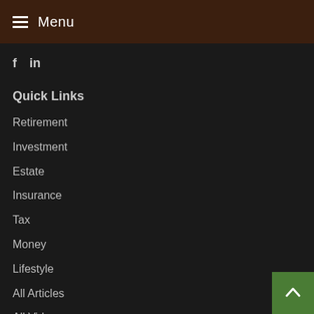Menu
[Figure (other): Social media icons: Facebook (f) and LinkedIn (in)]
Quick Links
Retirement
Investment
Estate
Insurance
Tax
Money
Lifestyle
All Articles
All Videos
All Calculators
All Presentations